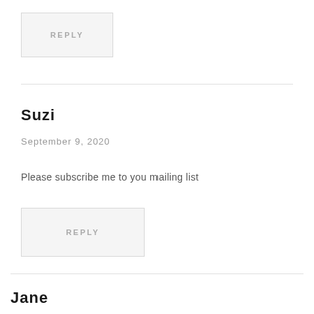REPLY
Suzi
September 9, 2020
Please subscribe me to you mailing list
REPLY
Jane